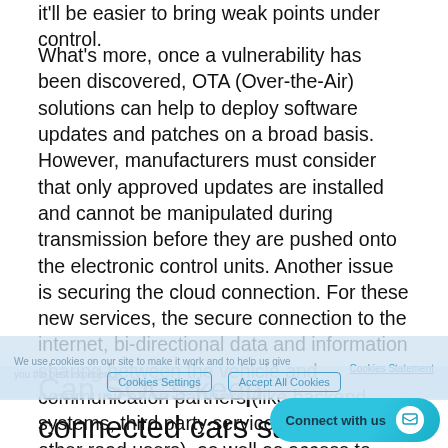it'll be easier to bring weak points under control.
What's more, once a vulnerability has been discovered, OTA (Over-the-Air) solutions can help to deploy software updates and patches on a broad basis. However, manufacturers must consider that only approved updates are installed and cannot be manipulated during transmission before they are pushed onto the electronic control units. Another issue is securing the cloud connection. For these new services, the secure connection to the internet, bi-directional data and information sharing between the vehicle and communication partners (like backend systems, third party service providers, or other road users), as well as access to highly scalable data storage, processing and analysis functions are crucial.
Can SOCs keep connected cars safe?